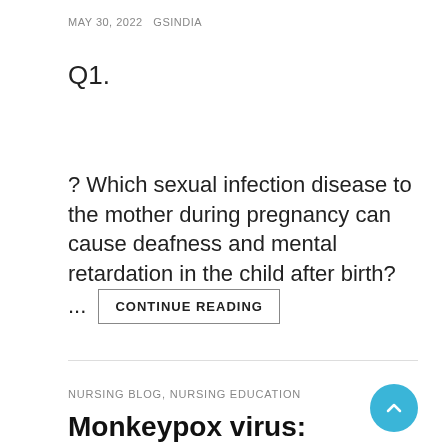MAY 30, 2022   GSINDIA
Q1.
? Which sexual infection disease to the mother during pregnancy can cause deafness and mental retardation in the child after birth? ...
CONTINUE READING
NURSING BLOG, NURSING EDUCATION
Monkeypox virus: symptoms, causes and treatment